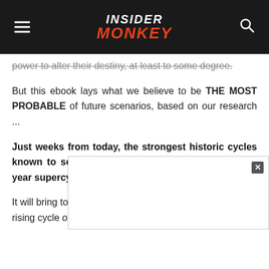INSIDER MONKEY
power to alter their destiny, at least to some degree.
But this ebook lays what we believe to be THE MOST PROBABLE of future scenarios, based on our research ...
Just weeks from today, the strongest historic cycles known to science will converge, forming a giant 5-year supercycle.
It will bring together four powerful financial cycles with the rising cycle of war. And we predict it will have